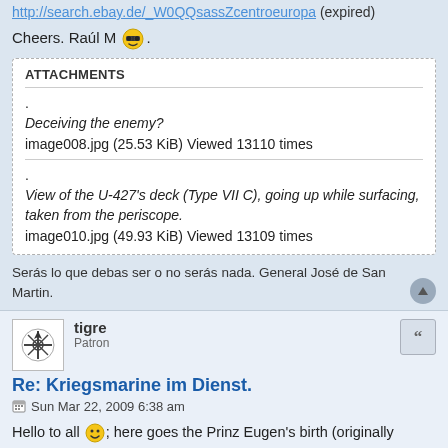http://search.ebay.de/_W0QQsassZcentroeuropa (expired)
Cheers. Raúl M 😎.
ATTACHMENTS
.
Deceiving the enemy?
image008.jpg (25.53 KiB) Viewed 13110 times
.
View of the U-427's deck (Type VII C), going up while surfacing, taken from the periscope.
image010.jpg (49.93 KiB) Viewed 13109 times
Serás lo que debas ser o no serás nada. General José de San Martin.
tigre
Patron
Re: Kriegsmarine im Dienst.
Sun Mar 22, 2009 6:38 am
Hello to all 🙂; here goes the Prinz Eugen's birth (originally battleship J).........................
Source: eBay auction (expired).